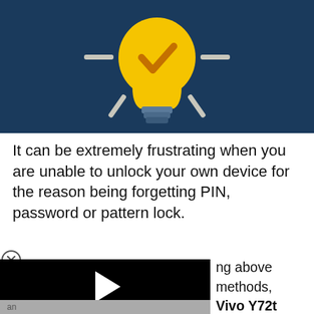[Figure (illustration): Light bulb with a checkmark on dark navy blue background with dashes and rays indicating illumination]
It can be extremely frustrating when you are unable to unlock your own device for the reason being forgetting PIN, password or pattern lock.
[Figure (screenshot): Video player overlay showing a black screen with a white play button triangle and a gray bottom bar, partially covering the text below]
ng above methods, Vivo Y72t without any important data if you gle account security